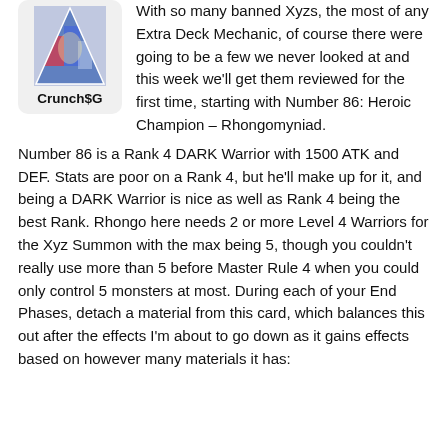[Figure (illustration): Triangular card image for Crunch$G, showing colorful anime-style artwork of monsters.]
Crunch$G
With so many banned Xyzs, the most of any Extra Deck Mechanic, of course there were going to be a few we never looked at and this week we'll get them reviewed for the first time, starting with Number 86: Heroic Champion – Rhongomyniad.
Number 86 is a Rank 4 DARK Warrior with 1500 ATK and DEF. Stats are poor on a Rank 4, but he'll make up for it, and being a DARK Warrior is nice as well as Rank 4 being the best Rank. Rhongo here needs 2 or more Level 4 Warriors for the Xyz Summon with the max being 5, though you couldn't really use more than 5 before Master Rule 4 when you could only control 5 monsters at most. During each of your End Phases, detach a material from this card, which balances this out after the effects I'm about to go down as it gains effects based on however many materials it has: